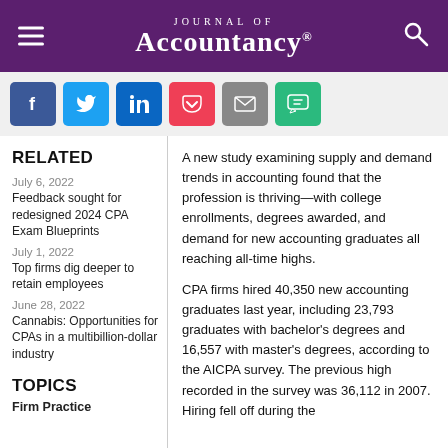Journal of Accountancy
[Figure (infographic): Social sharing buttons: Facebook, Twitter, LinkedIn, Pocket, Email, SMS]
RELATED
July 6, 2022
Feedback sought for redesigned 2024 CPA Exam Blueprints
July 1, 2022
Top firms dig deeper to retain employees
June 28, 2022
Cannabis: Opportunities for CPAs in a multibillion-dollar industry
TOPICS
Firm Practice
A new study examining supply and demand trends in accounting found that the profession is thriving—with college enrollments, degrees awarded, and demand for new accounting graduates all reaching all-time highs.
CPA firms hired 40,350 new accounting graduates last year, including 23,793 graduates with bachelor's degrees and 16,557 with master's degrees, according to the AICPA survey. The previous high recorded in the survey was 36,112 in 2007. Hiring fell off during the